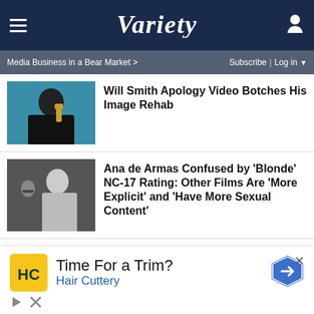VARIETY
Media Business in a Bear Market > Subscribe | Log in
Will Smith Apology Video Botches His Image Rehab
Ana de Armas Confused by 'Blonde' NC-17 Rating: Other Films Are 'More Explicit' and 'Have More Sexual Content'
Male Actor in a Leading Role
“Mank” star Gary Oldman is a recent winner here, as is “Ma Rainey’s Black Bottom” lead Chadwick Boseman for his wo in the “Black Panther” ensemble. “Sound of Metal” star Ri
[Figure (photo): Photo of Will Smith in a tuxedo holding an Oscar statuette, smiling, on a teal/blue background]
[Figure (photo): Black and white photo of Ana de Armas as Marilyn Monroe in Blonde, with a man in glasses in the background]
[Figure (infographic): Advertisement for Hair Cuttery - Time For a Trim? with HC logo and road sign arrow icon]